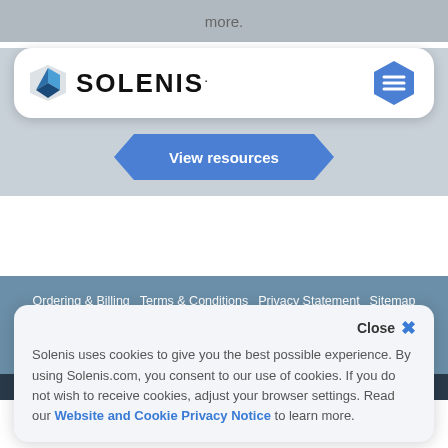more.
[Figure (logo): Solenis logo with diamond/shield icon and SOLENIS. wordmark, and a blue hexagon hamburger menu button on the right]
[Figure (other): View resources button with blue hexagonal/arrow shape]
Ordering & Billing   Terms & Conditions   Privacy Statement   Sitemap
[Figure (other): Social media icons: Twitter, LinkedIn, Facebook, YouTube in circles]
Close X
Solenis uses cookies to give you the best possible experience. By using Solenis.com, you consent to our use of cookies. If you do not wish to receive cookies, adjust your browser settings. Read our Website and Cookie Privacy Notice to learn more.